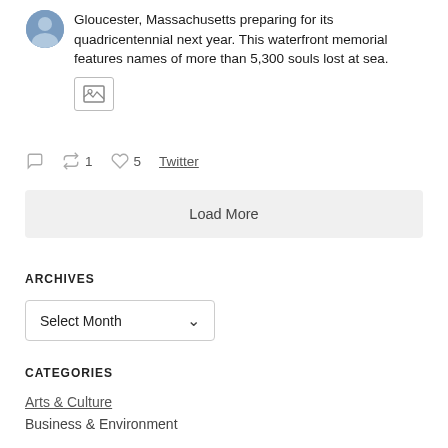Gloucester, Massachusetts preparing for its quadricentennial next year. This waterfront memorial features names of more than 5,300 souls lost at sea.
[Figure (photo): Small image placeholder icon]
1  5  Twitter
Load More
ARCHIVES
Select Month
CATEGORIES
Arts & Culture
Business & Environment